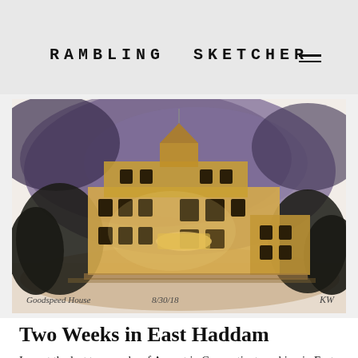RAMBLING SKETCHER
[Figure (illustration): Watercolor sketch of Goodspeed Opera House (labeled 'Goodspeed House 8/30/18') — a grand illuminated building against a purple night sky, rendered in warm gold and brown tones with dark trees on the sides. Artist initials 'KW' in lower right.]
Two Weeks in East Haddam
I spent the last two weeks of August in Connecticut working in East Haddam, painting scenery for Goodspeed Musicals.